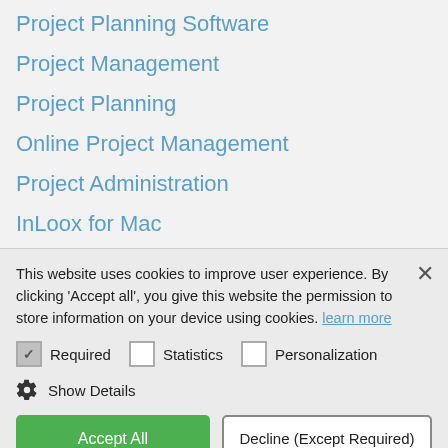Project Planning Software
Project Management
Project Planning
Online Project Management
Project Administration
InLoox for Mac
Time Tracking
This website uses cookies to improve user experience. By clicking 'Accept all', you give this website the permission to store information on your device using cookies. learn more
Required   Statistics   Personalization
Show Details
Accept All   Decline (Except Required)